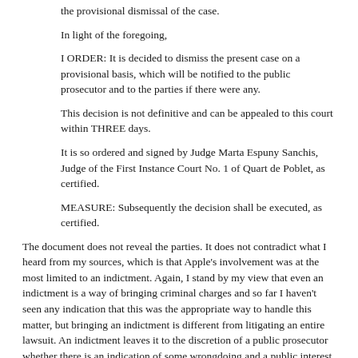the provisional dismissal of the case.
In light of the foregoing,
I ORDER: It is decided to dismiss the present case on a provisional basis, which will be notified to the public prosecutor and to the parties if there were any.
This decision is not definitive and can be appealed to this court within THREE days.
It is so ordered and signed by Judge Marta Espuny Sanchis, Judge of the First Instance Court No. 1 of Quart de Poblet, as certified.
MEASURE: Subsequently the decision shall be executed, as certified.
The document does not reveal the parties. It does not contradict what I heard from my sources, which is that Apple's involvement was at the most limited to an indictment. Again, I stand by my view that even an indictment is a way of bringing criminal charges and so far I haven't seen any indication that this was the appropriate way to handle this matter, but bringing an indictment is different from litigating an entire lawsuit. An indictment leaves it to the discretion of a public prosecutor whether there is an indication of some wrongdoing and a public interest in pursuing the matter.
The notice of dismissal does not explain in detail why the court believed there was no crime committed. But such an acquittal under criminal law doesn't